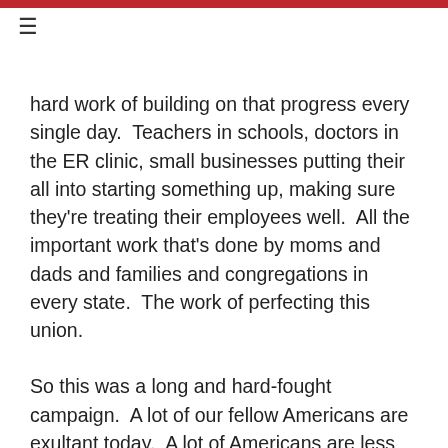≡
hard work of building on that progress every single day.  Teachers in schools, doctors in the ER clinic, small businesses putting their all into starting something up, making sure they're treating their employees well.  All the important work that's done by moms and dads and families and congregations in every state.  The work of perfecting this union.
So this was a long and hard-fought campaign.  A lot of our fellow Americans are exultant today.  A lot of Americans are less so.  But that's the nature of campaigns.  That's the nature of democracy.  It is hard, and sometimes contentious and noisy, and it's not always inspiring.
But to the young people who got into politics for the first time, and may be disappointed by the results, I just want